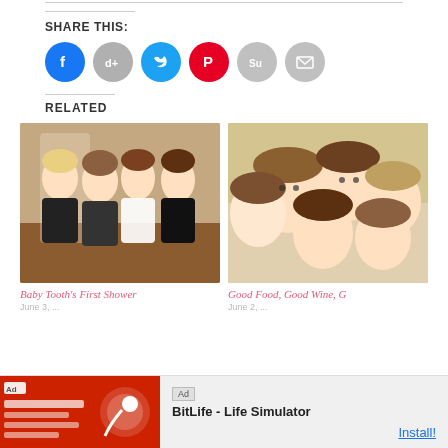SHARE THIS:
[Figure (infographic): Social share buttons: Facebook (blue), Digg (grey), Twitter (blue), Pinterest (red), StumbleUpon (grey), Email (grey)]
RELATED
[Figure (photo): Photo of four women standing together at what appears to be a baby shower event]
[Figure (photo): Group selfie photo of several young women]
Baby Tooth's First Shower
Good Food, Good Wine, G
[Figure (screenshot): Ad banner for BitLife - Life Simulator app with red background and app icon]